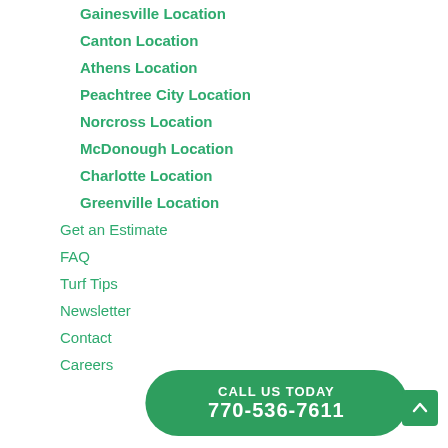Gainesville Location
Canton Location
Athens Location
Peachtree City Location
Norcross Location
McDonough Location
Charlotte Location
Greenville Location
Get an Estimate
FAQ
Turf Tips
Newsletter
Contact
Careers
CALL US TODAY
770-536-7611